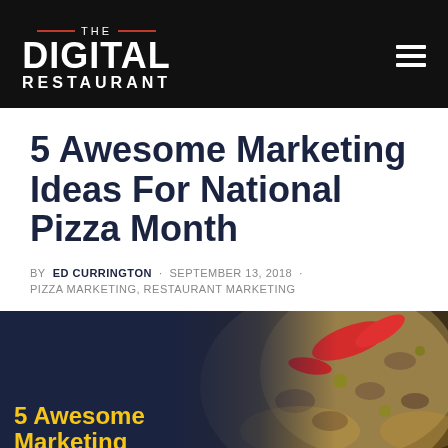THE DIGITAL RESTAURANT
5 Awesome Marketing Ideas For National Pizza Month
BY ED CURRINGTON · SEPTEMBER 13, 2018 · PIZZA MARKETING, RESTAURANT MARKETING
[Figure (photo): Featured article image showing a pizza with toppings (mushrooms, red peppers, cheese) on a dark background with overlay text '5 Awesome Marketing' in yellow on a dark blue left panel]